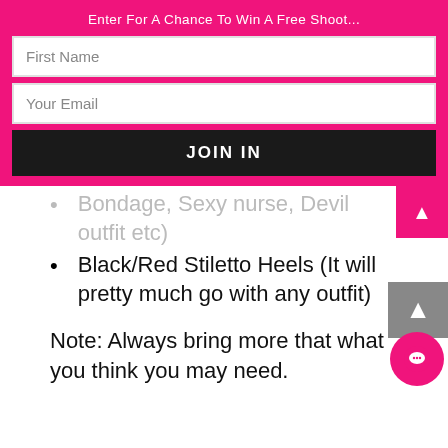Enter For A Chance To Win A Free Shoot...
First Name
Your Email
JOIN IN
Bondage, Sexy nurse, Devil outfit etc)
Black/Red Stiletto Heels (It will pretty much go with any outfit)
Note: Always bring more that what you think you may need.